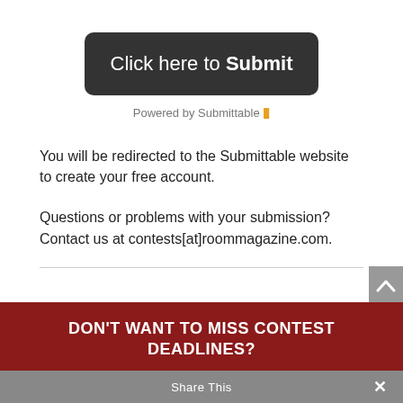[Figure (other): Dark rounded button with text 'Click here to Submit']
Powered by Submittable 🔲
You will be redirected to the Submittable website to create your free account.
Questions or problems with your submission? Contact us at contests[at]roommagazine.com.
DON'T WANT TO MISS CONTEST DEADLINES?
Subscribe to our newsletter and be the first to know about contest details.
Share This